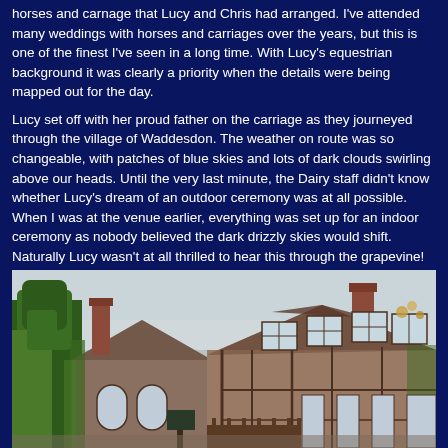horses and carnage that Lucy and Chris had arranged. I've attended many weddings with horses and carriages over the years, but this is one of the finest I've seen in a long time. With Lucy's equestrian background it was clearly a priority when the details were being mapped out for the day.
Lucy set off with her proud father on the carriage as they journeyed through the village of Waddesdon. The weather on route was so changeable, with patches of blue skies and lots of dark clouds swirling above our heads. Until the very last minute, the Dairy staff didn't know whether Lucy's dream of an outdoor ceremony was at all possible. When I was at the venue earlier, everything was set up for an indoor ceremony as nobody believed the dark drizzly skies would shift. Naturally Lucy wasn't at all thrilled to hear this through the grapevine!
[Figure (photo): Exterior photo of a Victorian-style building with timber framing, large windows, brick chimneys, and ivy-covered walls, taken from a low angle showing the roofline against an overcast sky, with trees visible on the left.]